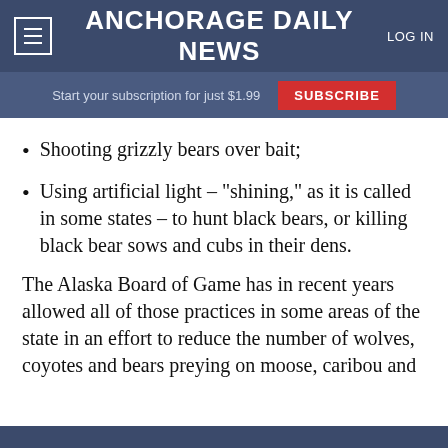Anchorage Daily News | LOG IN
Start your subscription for just $1.99  SUBSCRIBE
Shooting grizzly bears over bait;
Using artificial light – "shining," as it is called in some states – to hunt black bears, or killing black bear sows and cubs in their dens.
The Alaska Board of Game has in recent years allowed all of those practices in some areas of the state in an effort to reduce the number of wolves, coyotes and bears preying on moose, caribou and